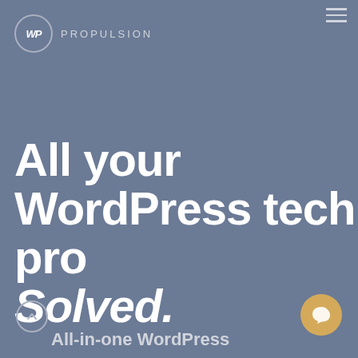WP PROPULSION
All your WordPress tech pro Solved.
[Figure (screenshot): Chat popup bubble with cartoon avatar and message: 'Hi there, have a question? Text us here.' with a close button and golden chat icon button]
All-in-one WordPress